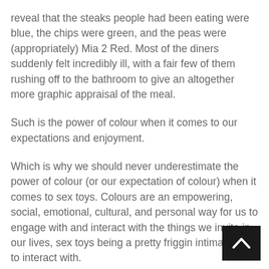reveal that the steaks people had been eating were blue, the chips were green, and the peas were (appropriately) Mia 2 Red. Most of the diners suddenly felt incredibly ill, with a fair few of them rushing off to the bathroom to give an altogether more graphic appraisal of the meal.
Such is the power of colour when it comes to our expectations and enjoyment.
Which is why we should never underestimate the power of colour (or our expectation of colour) when it comes to sex toys. Colours are an empowering, social, emotional, cultural, and personal way for us to engage with and interact with the things we invite in our lives, sex toys being a pretty friggin intimate thing to interact with.
Red as a colour is often attributed with danger, thrills, p